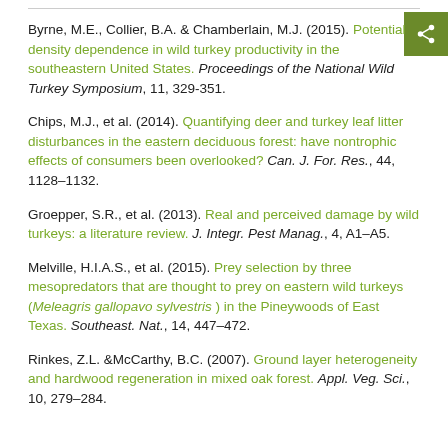Byrne, M.E., Collier, B.A. & Chamberlain, M.J. (2015). Potential density dependence in wild turkey productivity in the southeastern United States. Proceedings of the National Wild Turkey Symposium, 11, 329-351.
Chips, M.J., et al. (2014). Quantifying deer and turkey leaf litter disturbances in the eastern deciduous forest: have nontrophic effects of consumers been overlooked? Can. J. For. Res., 44, 1128–1132.
Groepper, S.R., et al. (2013). Real and perceived damage by wild turkeys: a literature review. J. Integr. Pest Manag., 4, A1–A5.
Melville, H.I.A.S., et al. (2015). Prey selection by three mesopredators that are thought to prey on eastern wild turkeys (Meleagris gallopavo sylvestris ) in the Pineywoods of East Texas. Southeast. Nat., 14, 447–472.
Rinkes, Z.L. &McCarthy, B.C. (2007). Ground layer heterogeneity and hardwood regeneration in mixed oak forest. Appl. Veg. Sci., 10, 279–284.